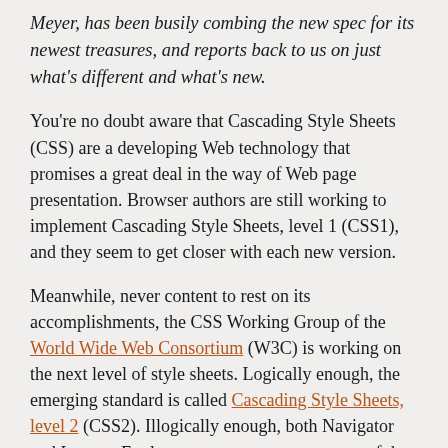Meyer, has been busily combing the new spec for its newest treasures, and reports back to us on just what's different and what's new.
You're no doubt aware that Cascading Style Sheets (CSS) are a developing Web technology that promises a great deal in the way of Web page presentation. Browser authors are still working to implement Cascading Style Sheets, level 1 (CSS1), and they seem to get closer with each new version.
Meanwhile, never content to rest on its accomplishments, the CSS Working Group of the World Wide Web Consortium (W3C) is working on the next level of style sheets. Logically enough, the emerging standard is called Cascading Style Sheets, level 2 (CSS2). Illogically enough, both Navigator and Internet Explorer attempt to support some of the things which are new in CSS2, even though they haven't finished implementing CSS1 yet.
So what is new in CSS2? I'm so glad you asked. Let's take a